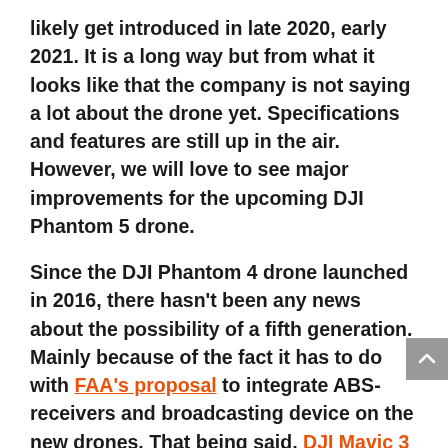likely get introduced in late 2020, early 2021. It is a long way but from what it looks like that the company is not saying a lot about the drone yet. Specifications and features are still up in the air. However, we will love to see major improvements for the upcoming DJI Phantom 5 drone.
Since the DJI Phantom 4 drone launched in 2016, there hasn't been any news about the possibility of a fifth generation. Mainly because of the fact it has to do with FAA's proposal to integrate ABS-receivers and broadcasting device on the new drones. That being said, DJI Mavic 3 Pro drone is very likely and will be happening this year. If proven to be a success, we might see Phantom 5 drone following afterward.